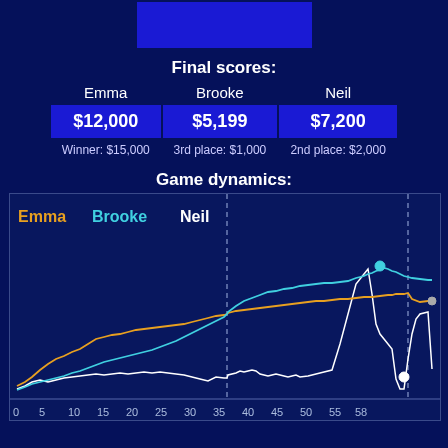[Figure (other): Dark blue Jeopardy-style banner rectangle at top center]
Final scores:
| Emma | Brooke | Neil |
| --- | --- | --- |
| $12,000 | $5,199 | $7,200 |
| Winner: $15,000 | 3rd place: $1,000 | 2nd place: $2,000 |
Game dynamics:
[Figure (line-chart): Line chart showing scores over 58 questions for Emma (orange), Brooke (cyan), Neil (white). Brooke peaks highest around question 50, Emma ends highest, Neil ends lowest. Dashed vertical lines at question 30 and 55-56.]